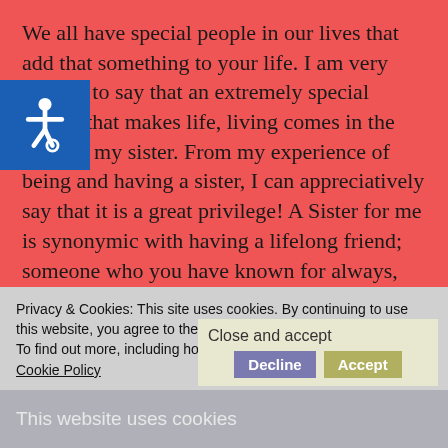We all have special people in our lives that add that something to your life. I am very blessed to say that an extremely special person that makes life, living comes in the form of my sister. From my experience of being and having a sister, I can appreciatively say that it is a great privilege! A Sister for me is synonymic with having a lifelong friend; someone who you have known for always, someone who knows all of your quirks- good and bad- and is accepting of them and someone that is always there.
[Figure (illustration): Blue accessibility wheelchair icon on dark blue background]
A sisterly relationship such as the one I have experience
Privacy & Cookies: This site uses cookies. By continuing to use this website, you agree to their use.
To find out more, including how to control cookies, see here: Cookie Policy
This website uses cookies
Close and accept
Decline   Accept
such an importance in my life and makes me a better